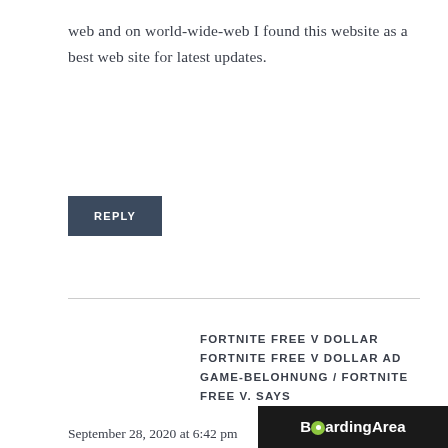web and on world-wide-web I found this website as a best web site for latest updates.
REPLY
FORTNITE FREE V DOLLAR FORTNITE FREE V DOLLAR AD GAME-BELOHNUNG / FORTNITE FREE V. SAYS
September 28, 2020 at 6:42 pm
You really make it seem so easy together with your presentation however I find this matter to be actually one thing that I feel I would understand.